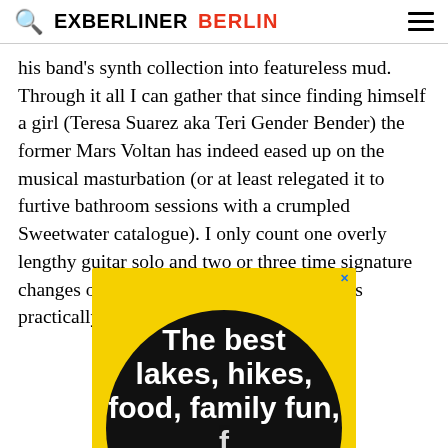EXBERLINER BERLIN
his band's synth collection into featureless mud. Through it all I can gather that since finding himself a girl (Teresa Suarez aka Teri Gender Bender) the former Mars Voltan has indeed eased up on the musical masturbation (or at least relegated it to furtive bathroom sessions with a crumpled Sweetwater catalogue). I only count one overly lengthy guitar solo and two or three time signature changes over the entire set, which for him is practically Ramonesian restraint.
[Figure (infographic): Yellow advertisement banner with a large black circle containing white bold text reading 'The best lakes, hikes, food, family fun,' with more text cut off at bottom]